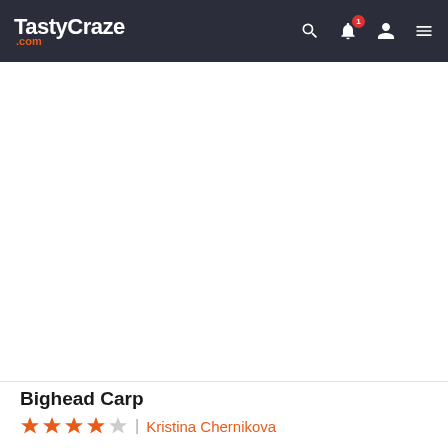TastyCraze.com
[Figure (photo): Large white/blank image area below navigation bar representing a recipe photo placeholder]
Bighead Carp
★★★★☆ | Kristina Chernikova